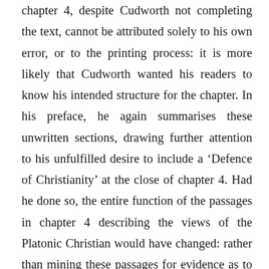chapter 4, despite Cudworth not completing the text, cannot be attributed solely to his own error, or to the printing process: it is more likely that Cudworth wanted his readers to know his intended structure for the chapter. In his preface, he again summarises these unwritten sections, drawing further attention to his unfulfilled desire to include a ‘Defence of Christianity’ at the close of chapter 4. Had he done so, the entire function of the passages in chapter 4 describing the views of the Platonic Christian would have changed: rather than mining these passages for evidence as to the nature of Cudworth’s Trinitarianism, it would have been possible for readers to have